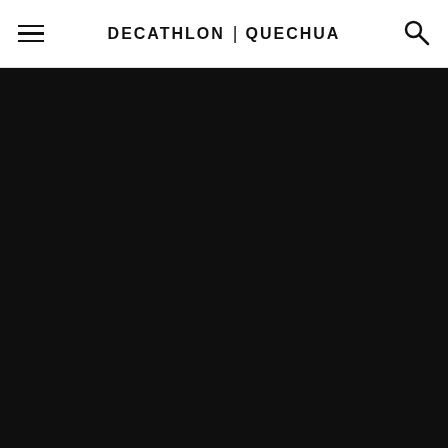DECATHLON | QUECHUA
[Figure (photo): Dark/black hero image background, likely an outdoor or product photograph rendered very dark, almost black]